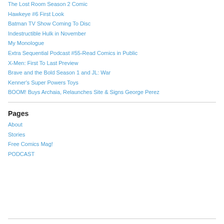The Lost Room Season 2 Comic
Hawkeye #6 First Look
Batman TV Show Coming To Disc
Indestructible Hulk in November
My Monologue
Extra Sequential Podcast #55-Read Comics in Public
X-Men: First To Last Preview
Brave and the Bold Season 1 and JL: War
Kenner's Super Powers Toys
BOOM! Buys Archaia, Relaunches Site & Signs George Perez
Pages
About
Stories
Free Comics Mag!
PODCAST